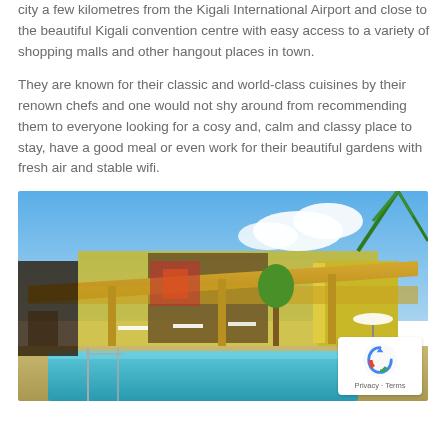city a few kilometres from the Kigali International Airport and close to the beautiful Kigali convention centre with easy access to a variety of shopping malls and other hangout places in town.
They are known for their classic and world-class cuisines by their renown chefs and one would not shy around from recommending them to everyone looking for a cosy and, calm and classy place to stay, have a good meal or even work for their beautiful gardens with fresh air and stable wifi.
[Figure (photo): Outdoor hotel area showing a swimming pool in the foreground, a large thatched/yellow roof canopy structure over an outdoor dining area with white-clothed tables and chairs, yellow building walls, palm trees, and a blue sky with clouds in the background.]